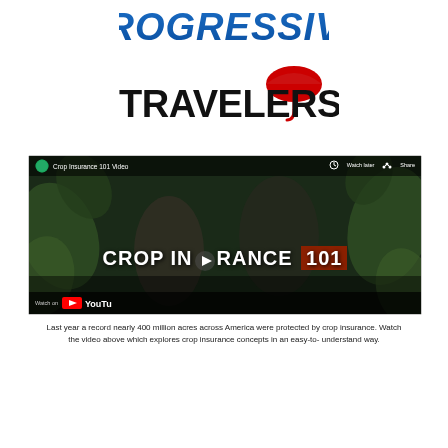[Figure (logo): Progressive insurance logo in blue bold italic text]
[Figure (logo): Travelers insurance logo with black bold text and red umbrella icon]
[Figure (screenshot): YouTube video thumbnail titled 'Crop Insurance 101 Video' showing two people in a field with text 'CROP INSURANCE 101' overlaid, with play button and YouTube watch on bar at bottom]
Last year a record nearly 400 million acres across America were protected by crop insurance. Watch the video above which explores crop insurance concepts in an easy-to-understand way.